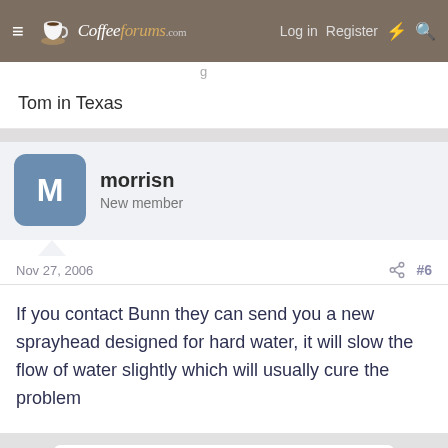CoffeeForums.com — Log in | Register
g
Tom in Texas
morrisn
New member
Nov 27, 2006  #6
If you contact Bunn they can send you a new sprayhead designed for hard water, it will slow the flow of water slightly which will usually cure the problem
You must log in or register to reply here.